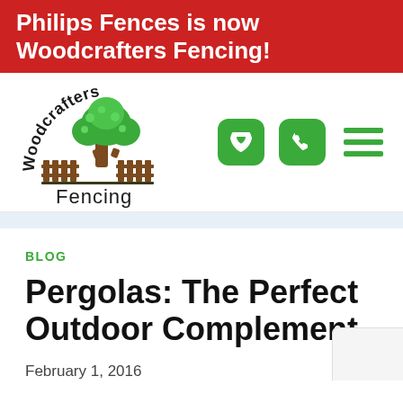Philips Fences is now Woodcrafters Fencing!
[Figure (logo): Woodcrafters Fencing logo with tree and fence illustration, text arched reading 'Woodcrafters' above and 'Fencing' below]
BLOG
Pergolas: The Perfect Outdoor Complement
February 1, 2016